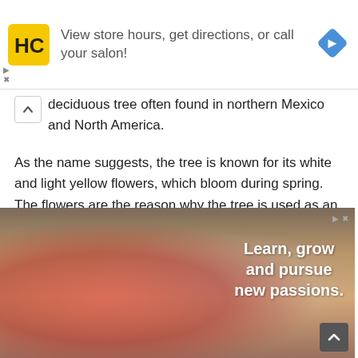[Figure (infographic): Advertisement banner for a hair salon chain (HC logo in yellow square) with text 'View store hours, get directions, or call your salon!' and a blue diamond navigation arrow icon on the right.]
deciduous tree often found in northern Mexico and North America.
As the name suggests, the tree is known for its white and light yellow flowers, which bloom during spring. The flowers are the reason why the tree is used as an ornament.
[Figure (photo): Advertisement banner showing an elderly woman with white hair painting on a canvas, with another person in background. Text overlay reads 'Learn, grow and pursue new passions.']